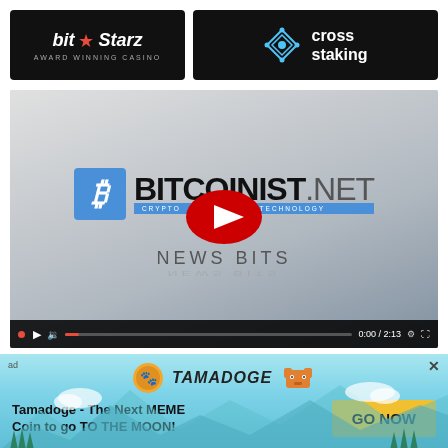[Figure (logo): BitStarz Award Winning Casino logo on black background]
[Figure (logo): Cross Staking logo with geometric diamond icon on black background]
[Figure (screenshot): YouTube video embed showing Bitcoinist.net News Bits video thumbnail with play button. Timestamp shows 0:00 / 2:13]
[Figure (infographic): Tamadoge advertisement banner with sky background. Text: Tamadoge - The Next MEME Coin to go TO THE MOON! with GO NOW button]